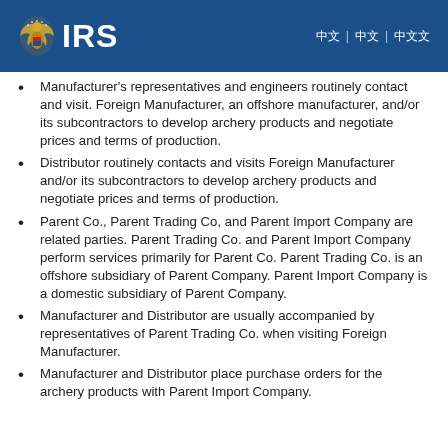IRS
Manufacturer's representatives and engineers routinely contact and visit. Foreign Manufacturer, an offshore manufacturer, and/or its subcontractors to develop archery products and negotiate prices and terms of production.
Distributor routinely contacts and visits Foreign Manufacturer and/or its subcontractors to develop archery products and negotiate prices and terms of production.
Parent Co., Parent Trading Co, and Parent Import Company are related parties. Parent Trading Co. and Parent Import Company perform services primarily for Parent Co. Parent Trading Co. is an offshore subsidiary of Parent Company. Parent Import Company is a domestic subsidiary of Parent Company.
Manufacturer and Distributor are usually accompanied by representatives of Parent Trading Co. when visiting Foreign Manufacturer.
Manufacturer and Distributor place purchase orders for the archery products with Parent Import Company.